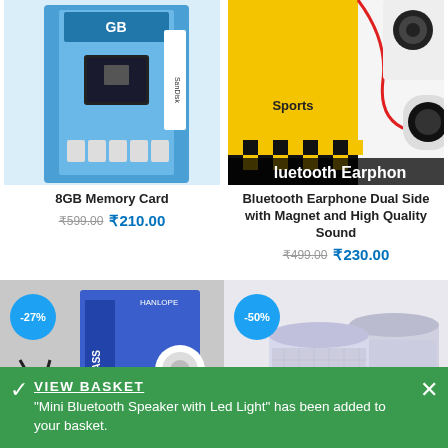[Figure (photo): 8GB Memory Card product image on blue packaging background]
[Figure (photo): Bluetooth earphone dual side product with red cable and yellow packaging, text 'Bluetooth Earphon' visible]
8GB Memory Card
₹599.00 ₹210.00
Bluetooth Earphone Dual Side with Magnet and High Quality Sound
₹499.00 ₹230.00
[Figure (photo): Supreme Bass earphones with -27% discount badge, wired earphones with blue packaging]
[Figure (photo): Mini Bluetooth Speaker with LED light showing colorful cylindrical speakers, -50% discount badge]
VIEW BASKET
"Mini Bluetooth Speaker with Led Light" has been added to your basket.